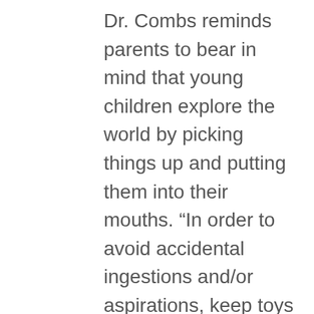Dr. Combs reminds parents to bear in mind that young children explore the world by picking things up and putting them into their mouths. “In order to avoid accidental ingestions and/or aspirations, keep toys with small component parts – less than 1 ¾ inches in diameter